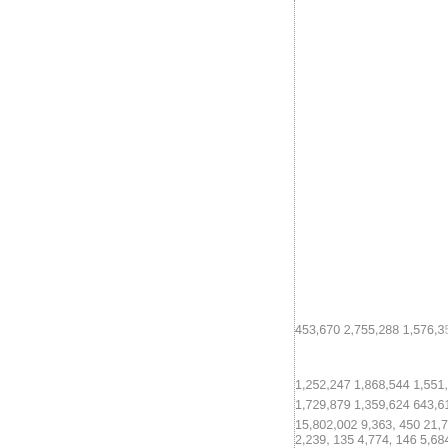| 453,670 | 2,755,288 | 1,576,35 |
| 1,252,247 | 1,868,544 | 1,551,23 |
| 1,729,879 | 1,359,624 | 643,616 |
| 15,802,002 | 9,363, 450 | 21,792 |
| 2,239, 135 | 4,774, 146 | 5,684,5 |